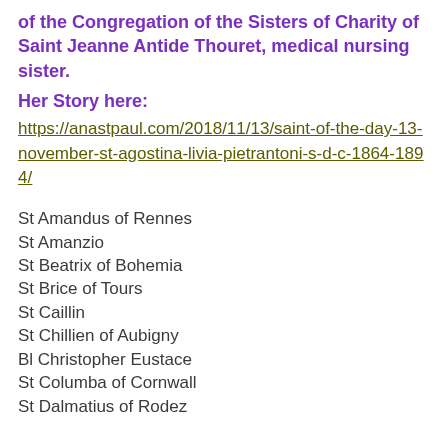of the Congregation of the Sisters of Charity of Saint Jeanne Antide Thouret, medical nursing sister.
Her Story here:
https://anastpaul.com/2018/11/13/saint-of-the-day-13-november-st-agostina-livia-pietrantoni-s-d-c-1864-1894/
St Amandus of Rennes
St Amanzio
St Beatrix of Bohemia
St Brice of Tours
St Caillin
St Chillien of Aubigny
Bl Christopher Eustace
St Columba of Cornwall
St Dalmatius of Rodez